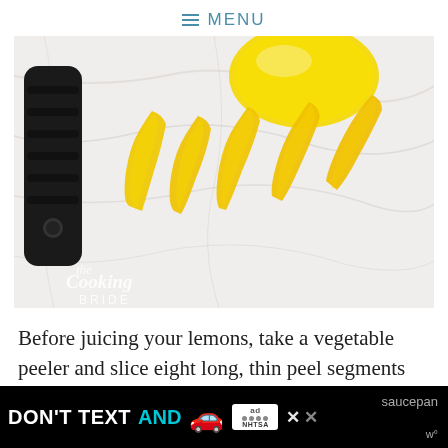≡ MENU
[Figure (photo): Overhead view of a black-handled vegetable peeler and several long thin strips of yellow lemon peel arranged on a white marble surface. The Cooking Bride watermark logo visible in lower left corner.]
Before juicing your lemons, take a vegetable peeler and slice eight long, thin peel segments from one le... ...saucepan ...w°
[Figure (other): Advertisement banner: DON'T TEXT AND [car emoji] with ad badge and NHTSA logo, close buttons on the right.]